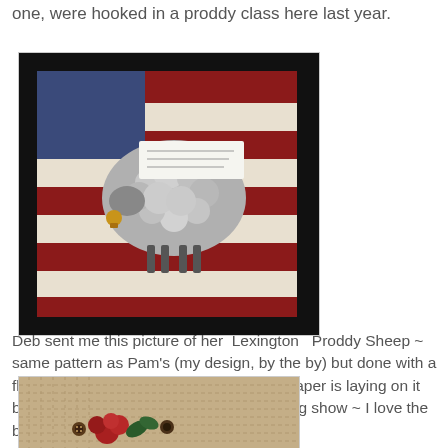one, were hooked in a proddy class here last year.
[Figure (photo): A handmade rug featuring a proddy sheep design with a flag background (red, white, blue stripes) and a fluffy gray sheep body with black proddy edge border. A small paper card is on top and the sheep has a bell.]
Deb sent me this picture of her Lexington Proddy Sheep ~ same pattern as Pam's (my design, by the by) but done with a flag background and proddy edge! The paper is laying on it because it was on display at her guild's rug show ~ I love the bell and the deep rich colors!
[Figure (photo): A close-up of a burlap pillow with red and green wool embellishments and small round buttons.]